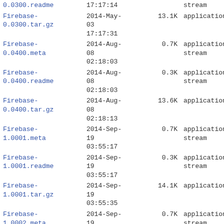| Name | Date | Size | Type |
| --- | --- | --- | --- |
| 0.0300.readme | 17:17:14 |  | stream |
| Firebase-0.0300.tar.gz | 2014-May-03 17:17:31 | 13.1K | application/gzip |
| Firebase-0.0400.meta | 2014-Aug-08 02:18:03 | 0.7K | application/octet-stream |
| Firebase-0.0400.readme | 2014-Aug-08 02:18:03 | 0.3K | application/octet-stream |
| Firebase-0.0400.tar.gz | 2014-Aug-08 02:18:13 | 13.6K | application/gzip |
| Firebase-1.0001.meta | 2014-Sep-19 03:55:17 | 0.7K | application/octet-stream |
| Firebase-1.0001.readme | 2014-Sep-19 03:55:17 | 0.3K | application/octet-stream |
| Firebase-1.0001.tar.gz | 2014-Sep-19 03:55:35 | 14.1K | application/gzip |
| Firebase-1.0002.meta | 2014-Sep-19 06:43:49 | 0.7K | application/octet-stream |
| Firebase-1.0002.readme | 2014-Sep-19 06:43:49 | 0.3K | application/octet-stream |
| Firebase-1.0002.tar.gz | 2014-Sep-19 06:43:58 | 14.1K | application/gzip |
| Imager- | 2015-Mar- |  | application/octet- |